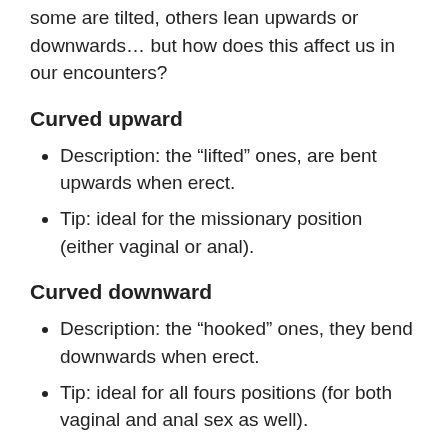some are tilted, others lean upwards or downwards… but how does this affect us in our encounters?
Curved upward
Description: the “lifted” ones, are bent upwards when erect.
Tip: ideal for the missionary position (either vaginal or anal).
Curved downward
Description: the “hooked” ones, they bend downwards when erect.
Tip: ideal for all fours positions (for both vaginal and anal sex as well).
Curved to the right